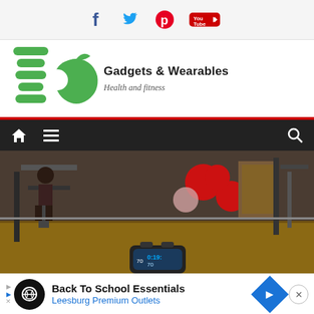[Figure (logo): Social media icons bar: Facebook (f), Twitter (bird), Pinterest (P), YouTube (You Tube)]
[Figure (logo): Gadgets & Wearables logo with stacked green circles and apple graphic, tagline Health and fitness]
[Figure (screenshot): Dark navigation bar with home icon, hamburger menu icon on left, and search magnifier icon on right, on dark background with red top border]
[Figure (photo): Gym interior photo showing exercise equipment, red medicine balls, wooden floor, with a smartwatch visible at the bottom showing workout data]
[Figure (infographic): Advertisement banner: Back To School Essentials - Leesburg Premium Outlets, with infinity logo, blue diamond arrow icon, and close X button]